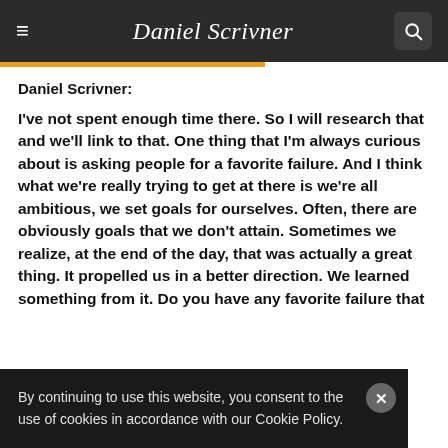Daniel Scrivner
Daniel Scrivner:
I've not spent enough time there. So I will research that and we'll link to that. One thing that I'm always curious about is asking people for a favorite failure. And I think what we're really trying to get at there is we're all ambitious, we set goals for ourselves. Often, there are obviously goals that we don't attain. Sometimes we realize, at the end of the day, that was actually a great thing. It propelled us in a better direction. We learned something from it. Do you have any favorite failure that you're grateful for that you think about?
By continuing to use this website, you consent to the use of cookies in accordance with our Cookie Policy.